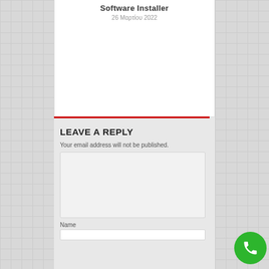Software Installer
26 Μαρτίου 2022
LEAVE A REPLY
Your email address will not be published.
Name